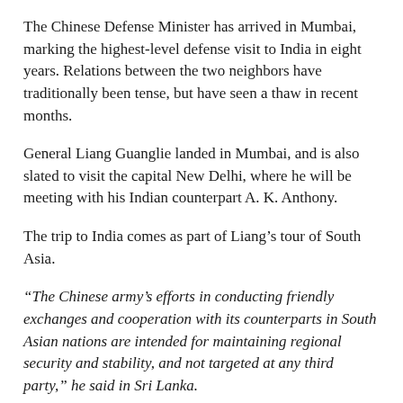The Chinese Defense Minister has arrived in Mumbai, marking the highest-level defense visit to India in eight years. Relations between the two neighbors have traditionally been tense, but have seen a thaw in recent months.
General Liang Guanglie landed in Mumbai, and is also slated to visit the capital New Delhi, where he will be meeting with his Indian counterpart A. K. Anthony.
The trip to India comes as part of Liang's tour of South Asia.
“The Chinese army’s efforts in conducting friendly exchanges and cooperation with its counterparts in South Asian nations are intended for maintaining regional security and stability, and not targeted at any third party,” he said in Sri Lanka.
continue reading »